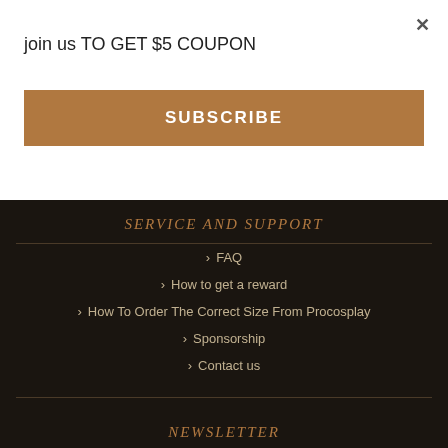× (close button)
join us TO GET $5 COUPON
SUBSCRIBE
SERVICE AND SUPPORT
FAQ
How to get a reward
How To Order The Correct Size From Procosplay
Sponsorship
Contact us
NEWSLETTER
enter your email here...
PAYMENT OPTIONS